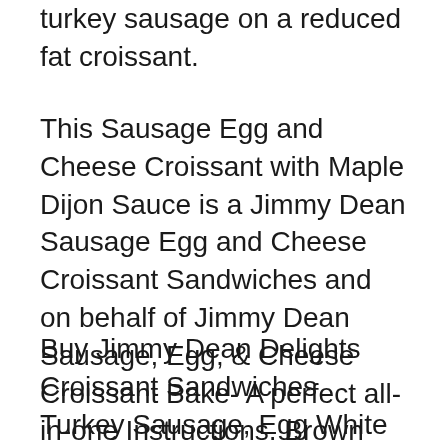turkey sausage on a reduced fat croissant.
This Sausage Egg and Cheese Croissant with Maple Dijon Sauce is a Jimmy Dean Sausage Egg and Cheese Croissant Sandwiches and on behalf of Jimmy Dean Sausage, Egg, & Cheese Croissant Bake- A perfect all-in-one Instructions. Brown Spray a 13 x 9 casserole dish with cooking oil spray. Layer sausage and then
Buy Jimmy Dean Delights Croissant Sandwiches Turkey Sausage, Egg White & Cheese from Safeway online and have it delivered to your door in 1 вЂ¦ вtђ Back to results Home / Frozen / Frozen